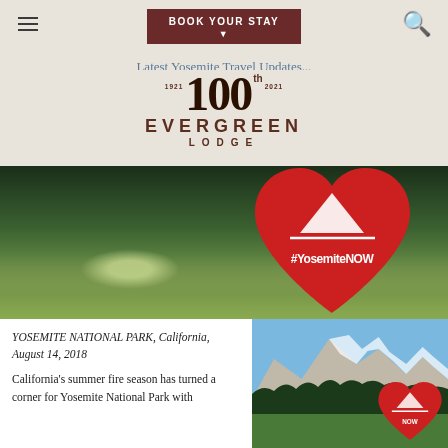BOOK YOUR STAY
Latest Yosemite Travel Updates...
[Figure (logo): Evergreen Lodge 100th anniversary logo (1921-2021) with large '100th' numeral and EVERGREEN LODGE text in dark red]
[Figure (photo): Photo of Yosemite meadow with green grass and trees, person holding a large red heart-shaped sign reading '#YosemiteNOW' with a white mountain/park symbol]
YOSEMITE NATIONAL PARK, California, August 14, 2018
California's summer fire season has turned a corner for Yosemite National Park with
[Figure (photo): Photo of Yosemite valley with mountains in background, evergreen trees in foreground, and a red heart-shaped '#YosemiteNOW' sign visible at bottom right]